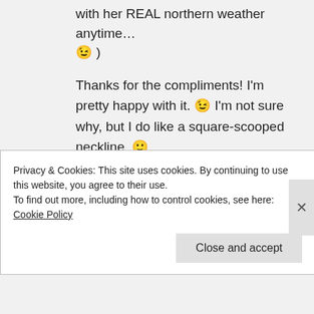with her REAL northern weather anytime… 😉 )
Thanks for the compliments! I'm pretty happy with it. 😉 I'm not sure why, but I do like a square-scooped neckline. 🙂
↪ Reply
Seraphinalina on December 28, 2012 at 7:55 am
Privacy & Cookies: This site uses cookies. By continuing to use this website, you agree to their use. To find out more, including how to control cookies, see here: Cookie Policy
Close and accept